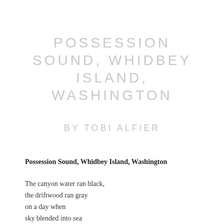POSSESSION SOUND, WHIDBEY ISLAND, WASHINGTON
BY TOBI ALFIER
Possession Sound, Whidbey Island, Washington
The canyon water ran black,
the driftwood ran gray
on a day when
sky blended into sea
a seamless bone